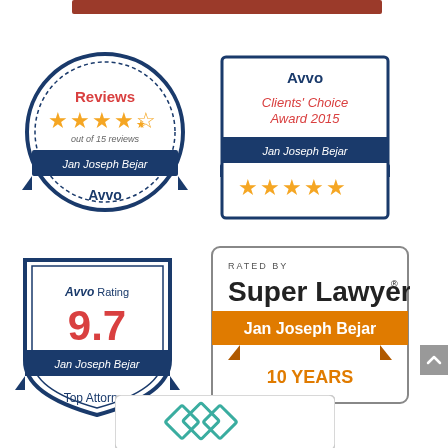[Figure (logo): Dark red/brown horizontal bar at top]
[Figure (infographic): Avvo Reviews badge: circular blue bordered badge with 4.5 orange stars, 'out of 15 reviews', 'Jan Joseph Bejar', and 'Avvo' text]
[Figure (infographic): Avvo Clients' Choice Award 2015 badge: square blue bordered badge with 5 orange stars and 'Jan Joseph Bejar']
[Figure (infographic): Avvo Rating 9.7 badge: shield shaped blue badge with Avvo Rating, 9.7 in red, Jan Joseph Bejar, Top Attorney]
[Figure (infographic): Rated by Super Lawyers badge: Jan Joseph Bejar, 10 YEARS]
[Figure (logo): Partial bottom logo with teal diamond shapes visible]